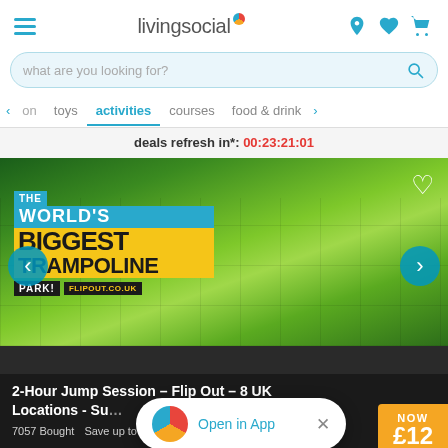livingsocial — hamburger menu, search, location, wishlist, cart icons
what are you looking for?
on | toys | activities | courses | food & drink
deals refresh in*: 00:23:21:01
[Figure (photo): Trampoline park promotional image showing a child doing a flip/handstand on a bright green trampoline. Overlay text reads: THE WORLD'S BIGGEST TRAMPOLINE PARK! FLIPOUT.CO.UK]
2-Hour Jump Session – Flip Out – 8 UK Locations - Su…
7057 Bought   Save up to 50%   £24
Open in App   ×
NOW £12